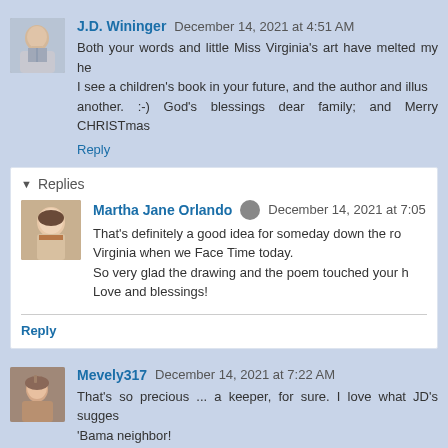J.D. Wininger  December 14, 2021 at 4:51 AM
Both your words and little Miss Virginia's art have melted my he... I see a children's book in your future, and the author and illus... another. :-) God's blessings dear family; and Merry CHRISTmas...
Reply
Replies
Martha Jane Orlando  December 14, 2021 at 7:05
That's definitely a good idea for someday down the ro... Virginia when we Face Time today.
So very glad the drawing and the poem touched your h...
Love and blessings!
Reply
Mevely317  December 14, 2021 at 7:22 AM
That's so precious ... a keeper, for sure. I love what JD's sugges... 'Bama neighbor!